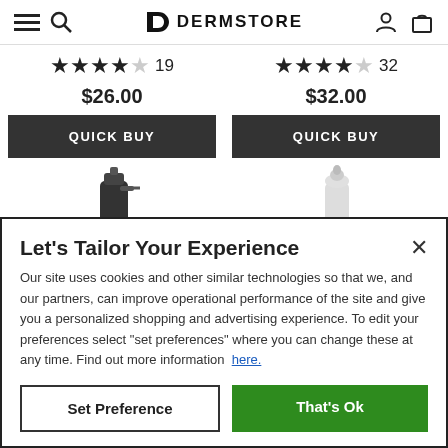DERMSTORE
★★★★☆ 19   $26.00   QUICK BUY
★★★★☆ 32   $32.00   QUICK BUY
[Figure (screenshot): Two product bottles partially visible at bottom of product listing area]
Let's Tailor Your Experience
Our site uses cookies and other similar technologies so that we, and our partners, can improve operational performance of the site and give you a personalized shopping and advertising experience. To edit your preferences select "set preferences" where you can change these at any time. Find out more information here.
Set Preference   That's Ok